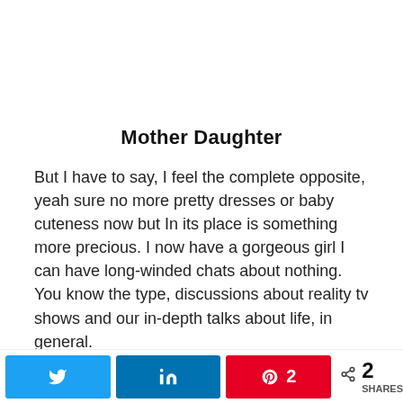Mother Daughter
But I have to say, I feel the complete opposite, yeah sure no more pretty dresses or baby cuteness now but In its place is something more precious. I now have a gorgeous girl I can have long-winded chats about nothing. You know the type, discussions about reality tv shows and our in-depth talks about life, in general.
I love having a daughter who has just turned 19 because I love our girly days that consist of our unique
Twitter | LinkedIn | Pinterest 2 | < 2 SHARES